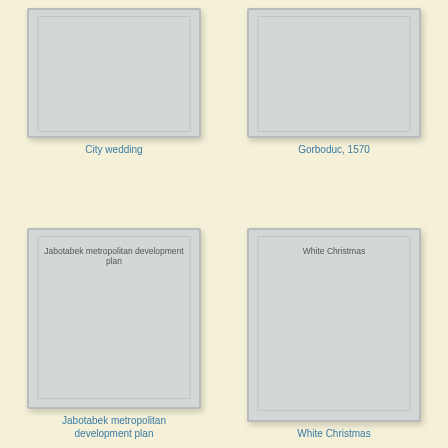[Figure (illustration): Book cover placeholder for City wedding]
City wedding
[Figure (illustration): Book cover placeholder for Gorboduc, 1570]
Gorboduc, 1570
[Figure (illustration): Book cover placeholder for Jabotabek metropolitan development plan]
Jabotabek metropolitan development plan
[Figure (illustration): Book cover placeholder for White Christmas]
White Christmas